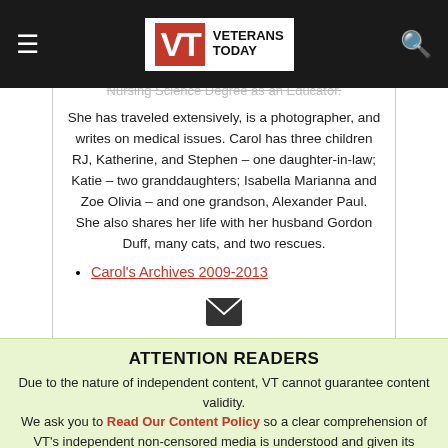Veterans Today
Nursing Science Degree as an Educator.
She has traveled extensively, is a photographer, and writes on medical issues. Carol has three children RJ, Katherine, and Stephen – one daughter-in-law; Katie – two granddaughters; Isabella Marianna and Zoe Olivia – and one grandson, Alexander Paul. She also shares her life with her husband Gordon Duff, many cats, and two rescues.
Carol's Archives 2009-2013
[Figure (other): Email envelope icon]
ATTENTION READERS
Due to the nature of independent content, VT cannot guarantee content validity. We ask you to Read Our Content Policy so a clear comprehension of VT's independent non-censored media is understood and given its proper place in the world of news,